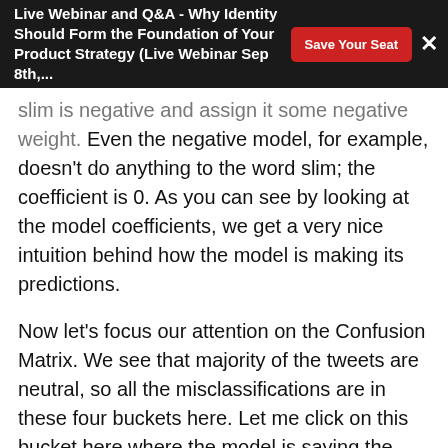Live Webinar and Q&A - Why Identity Should Form the Foundation of Your Product Strategy (Live Webinar Sep 8th,...
slim is negative and assign it some negative weight. Even the negative model, for example, doesn't do anything to the word slim; the coefficient is 0. As you can see by looking at the model coefficients, we get a very nice intuition behind how the model is making its predictions.
Now let's focus our attention on the Confusion Matrix. We see that majority of the tweets are neutral, so all the misclassifications are in these four buckets here. Let me click on this bucket here where the model is saying the tweets are positive but all the tweets are labeled as neutral by the human readers. If you think about it from the perspective of human readers, they can easily distinguish between a positive tweet and a negative tweet. But then the